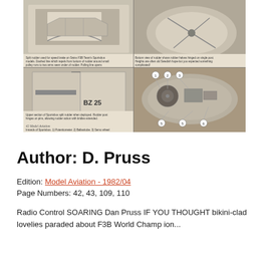[Figure (photo): Four black-and-white photographs arranged in a 2x2 grid showing model aviation rudder components. Top-left: split rudder used for speed brake on Swiss F3B Team's Sportsbus models. Top-right: bottom view of rudder showing rubber halves hinged on single post. Bottom-left: upper section of Sportsbus split rudder when deployed, labeled BZ 25. Bottom-right: internals of Sportsbus showing numbered components 1-6.]
Split rudder used for speed brake on Swiss F3B Team's Sportsbus models. Dashed line which repels from bottom of rudder around small pulley runs to two arms seen under of rudder. Pulling line opens rudder halves. Two tension springs hold rudder closed. | Bottom view of rudder shows rubber halves hinged on single post. Heights are often old Swedish hope-but you expected something complicated! | Upper section of Sportsbus split rudder when deployed. Rudder post hinges on pins, allowing rudder action with bridles extended. | Innards of Sportsbus. 1) Potentiometer used to replace one in failsafe servo. 2) Ballasttube. 3) Servo wheel driving line and ballast. 4) Elevator servo. 5) Rudder servo. 6) Speed brake servo. | 42 Model Aviation
Author: D. Pruss
Edition: Model Aviation - 1982/04
Page Numbers: 42, 43, 109, 110
Radio Control SOARING Dan Pruss IF YOU THOUGHT bikini-clad lovelies paraded about F3B World Champ ion...